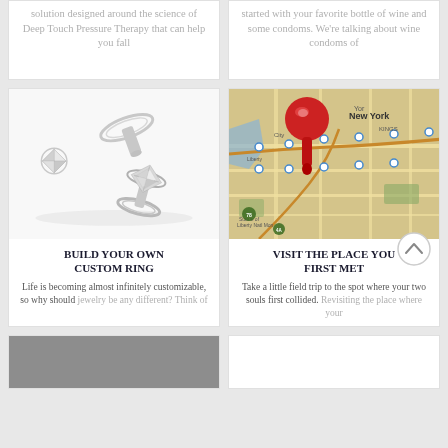solution designed around the science of Deep Touch Pressure Therapy that can help you fall
started with your favorite bottle of wine and some condoms. We're talking about wine condoms of
[Figure (photo): Diamond rings and jewelry on white background]
BUILD YOUR OWN CUSTOM RING
Life is becoming almost infinitely customizable, so why should jewelry be any different? Think of
[Figure (map): Road map with red push pin marking New York/Jersey City area]
VISIT THE PLACE YOU FIRST MET
Take a little field trip to the spot where your two souls first collided. Revisiting the place where your
[Figure (photo): Partial view of bottom-left card in grayscale]
[Figure (photo): Partial view of bottom-right card, white]